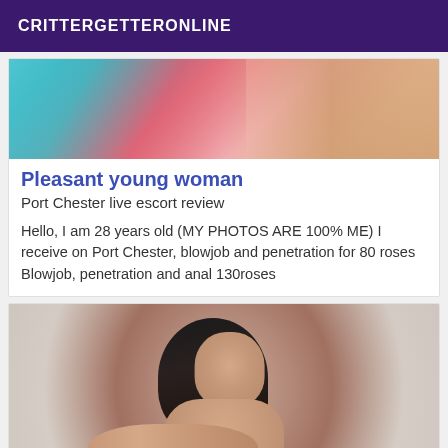CRITTERGETTERONLINE
[Figure (photo): Cropped photo showing colorful fabric and skin in background]
Pleasant young woman
Port Chester live escort review
Hello, I am 28 years old (MY PHOTOS ARE 100% ME) I receive on Port Chester, blowjob and penetration for 80 roses Blowjob, penetration and anal 130roses
[Figure (photo): Photo of a young woman with dark hair, with watermark text 'ymA' and partial phone number at bottom]